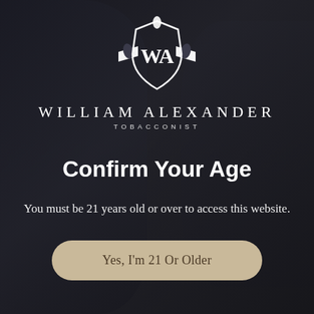[Figure (logo): William Alexander Tobacconist shield logo with 'WA' monogram and leaf motifs, white on dark background]
Confirm Your Age
You must be 21 years old or over to access this website.
Yes, I'm 21 Or Older